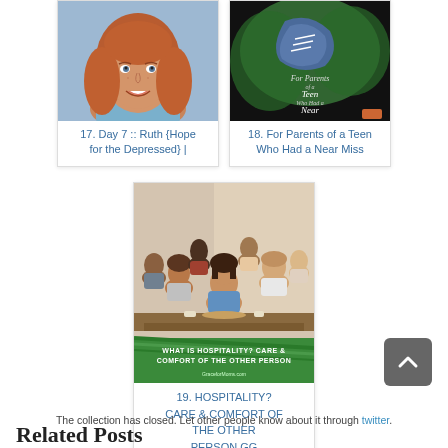[Figure (photo): Card 17: Photo of smiling woman with red hair, link card for 'Day 7 :: Ruth {Hope for the Depressed}']
17. Day 7 :: Ruth {Hope for the Depressed} |
[Figure (photo): Card 18: Book cover image for 'For Parents of a Teen Who Had a Near Miss']
18. For Parents of a Teen Who Had a Near Miss
[Figure (photo): Card 19: Image showing a group of diverse people sharing a meal at a table, with green banner text 'What is hospitality? Care & comfort of the other person']
19. HOSPITALITY? CARE & COMFORT OF THE OTHER PERSON.GG
The collection has closed. Let other people know about it through twitter.
Related Posts